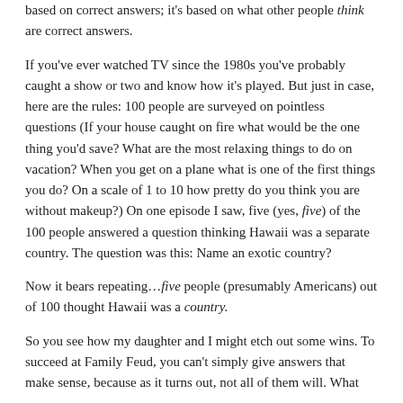based on correct answers; it's based on what other people think are correct answers.
If you've ever watched TV since the 1980s you've probably caught a show or two and know how it's played. But just in case, here are the rules: 100 people are surveyed on pointless questions (If your house caught on fire what would be the one thing you'd save? What are the most relaxing things to do on vacation? When you get on a plane what is one of the first things you do? On a scale of 1 to 10 how pretty do you think you are without makeup?) On one episode I saw, five (yes, five) of the 100 people answered a question thinking Hawaii was a separate country. The question was this: Name an exotic country?
Now it bears repeating…five people (presumably Americans) out of 100 thought Hawaii was a country.
So you see how my daughter and I might etch out some wins. To succeed at Family Feud, you can't simply give answers that make sense, because as it turns out, not all of them will. What